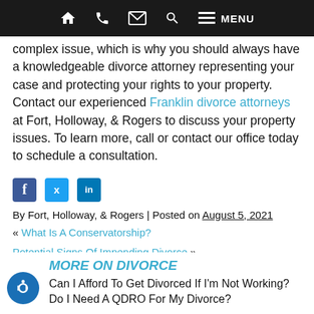Navigation bar with home, phone, email, search, and menu icons
complex issue, which is why you should always have a knowledgeable divorce attorney representing your case and protecting your rights to your property. Contact our experienced Franklin divorce attorneys at Fort, Holloway, & Rogers to discuss your property issues. To learn more, call or contact our office today to schedule a consultation.
[Figure (other): Social media share icons: Facebook, Twitter, LinkedIn]
By Fort, Holloway, & Rogers | Posted on August 5, 2021
« What Is A Conservatorship?
Potential Signs Of Impending Divorce »
MORE ON DIVORCE
Can I Afford To Get Divorced If I'm Not Working?
Do I Need A QDRO For My Divorce?